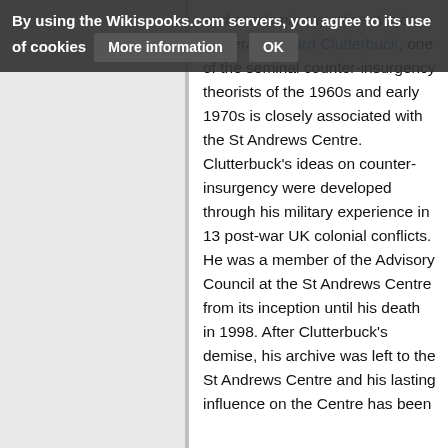By using the Wikispooks.com servers, you agree to its use of cookies  More information  OK
and academic expertise. Major General Richard Clutterbuck, one of the seminal counter-insurgency theorists of the 1960s and early 1970s is closely associated with the St Andrews Centre. Clutterbuck's ideas on counter-insurgency were developed through his military experience in 13 post-war UK colonial conflicts. He was a member of the Advisory Council at the St Andrews Centre from its inception until his death in 1998. After Clutterbuck's demise, his archive was left to the St Andrews Centre and his lasting influence on the Centre has been